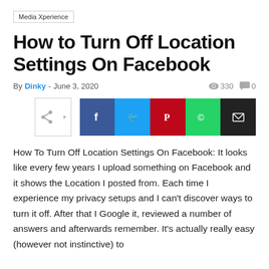Media Xperience
How to Turn Off Location Settings On Facebook
By Dinky - June 3, 2020   330   0
[Figure (infographic): Social share buttons row: share icon, Facebook, Twitter, Pinterest, WhatsApp, Email]
How To Turn Off Location Settings On Facebook: It looks like every few years I upload something on Facebook and it shows the Location I posted from. Each time I experience my privacy setups and I can't discover ways to turn it off. After that I Google it, reviewed a number of answers and afterwards remember. It's actually really easy (however not instinctive) to